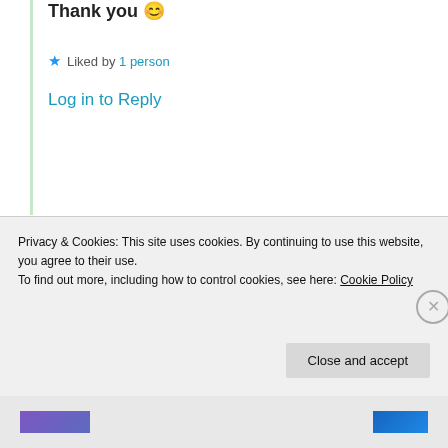Thank you 😊
★ Liked by 1 person
Log in to Reply
Dakshali Gupta
10th Jul 2021 at 7:45 am
Hi ,
I am hosting a prompt for the first
Privacy & Cookies: This site uses cookies. By continuing to use this website, you agree to their use.
To find out more, including how to control cookies, see here: Cookie Policy
Close and accept